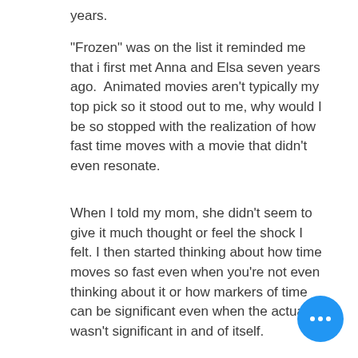years.
"Frozen" was on the list it reminded me that i first met Anna and Elsa seven years ago.  Animated movies aren't typically my top pick so it stood out to me, why would I be so stopped with the realization of how fast time moves with a movie that didn't even resonate.
When I told my mom, she didn't seem to give it much thought or feel the shock I felt. I then started thinking about how time moves so fast even when you're not even thinking about it or how markers of time can be significant even when the actual wasn't significant in and of itself.